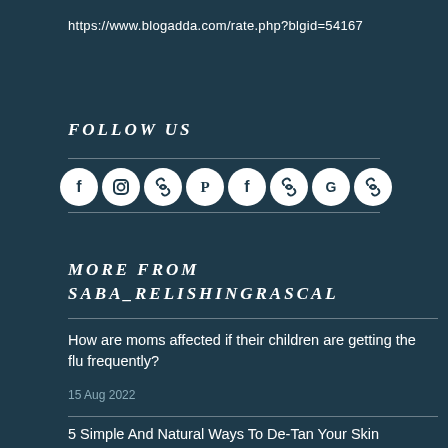https://www.blogadda.com/rate.php?blgid=54167
FOLLOW US
[Figure (infographic): Row of 8 social media icons (Facebook, Instagram, link/chain, Pinterest, Facebook, link/chain, Google, link/chain) displayed as white circles on dark background]
MORE FROM SABA_RELISHINGRASCAL
How are moms affected if their children are getting the flu frequently?
15 Aug 2022
5 Simple And Natural Ways To De-Tan Your Skin